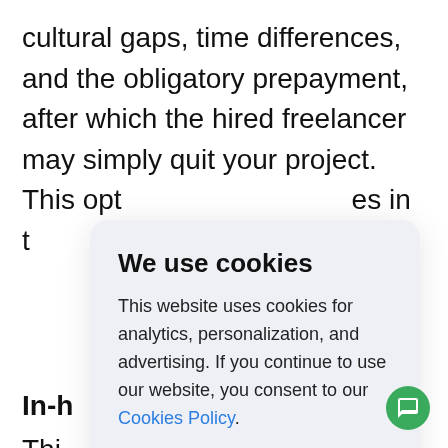cultural gaps, time differences, and the obligatory prepayment, after which the hired freelancer may simply quit your project. This opt                                                   es in t                                                    n scr
In-h
Thi                                                             che                                                        d ass adv partnership efficiency. However, the cost of this option is the highest, since you have to cover
[Figure (screenshot): Cookie consent modal dialog with title 'We use cookies', body text explaining cookie usage for analytics, personalization, and advertising with a link to Cookies Policy, and a blue rounded Accept button.]